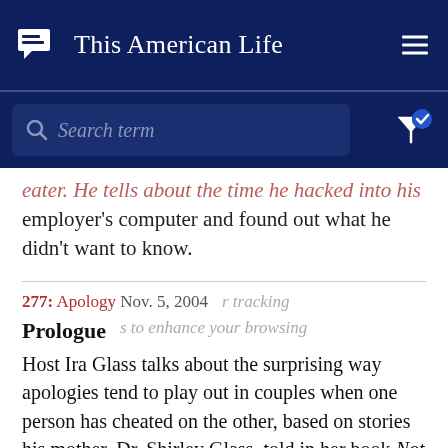This American Life
Search term
employer's computer and found out what he didn't want to know.
277: Apology Nov. 5, 2004
Prologue
Host Ira Glass talks about the surprising way apologies tend to play out in couples when one person has cheated on the other, based on stories his mother, Dr. Shirley Glass, told in her book Not Just Friends. And contributing editor